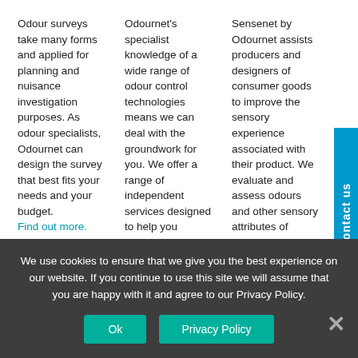Odour surveys take many forms and applied for planning and nuisance investigation purposes. As odour specialists, Odournet can design the survey that best fits your needs and your budget. Find out more.
Odournet's specialist knowledge of a wide range of odour control technologies means we can deal with the groundwork for you. We offer a range of independent services designed to help you diagnose and resolve performance issues. Find out more.
Sensenet by Odournet assists producers and designers of consumer goods to improve the sensory experience associated with their product. We evaluate and assess odours and other sensory attributes of products & materials from all sectors; perfumery, chemicals, pharmaceutic...
We use cookies to ensure that we give you the best experience on our website. If you continue to use this site we will assume that you are happy with it and agree to our Privacy Policy.